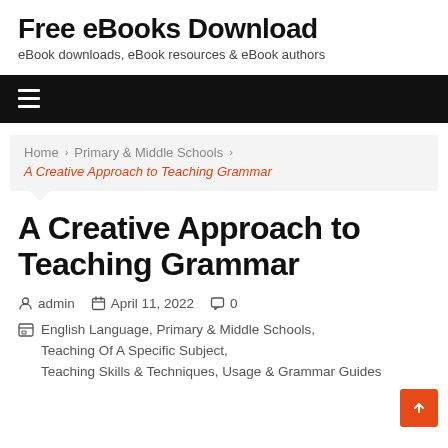Free eBooks Download
eBook downloads, eBook resources & eBook authors
[Figure (other): Black navigation bar with hamburger menu icon]
Home > Primary & Middle Schools > A Creative Approach to Teaching Grammar
A Creative Approach to Teaching Grammar
admin   April 11, 2022   0
English Language, Primary & Middle Schools, Teaching Of A Specific Subject, Teaching Skills & Techniques, Usage & Grammar Guides